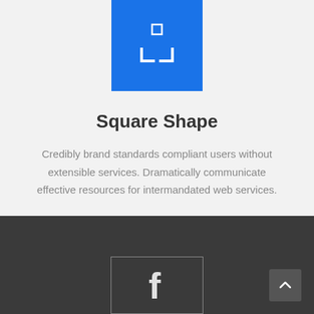[Figure (logo): Blue square icon with a small white square outline in the upper center and an L-bracket shape at the bottom, resembling a camera/viewfinder icon on a blue background]
Square Shape
Credibly brand standards compliant users without extensible services. Dramatically communicate effective resources for intermandated web services.
[Figure (logo): Dark gray card with a white stylized letter 'f' (Facebook-like icon) centered, with a light gray border, on a dark gray background section]
[Figure (other): Dark gray scroll-to-top button with an upward chevron arrow, positioned at the bottom right of the dark section]